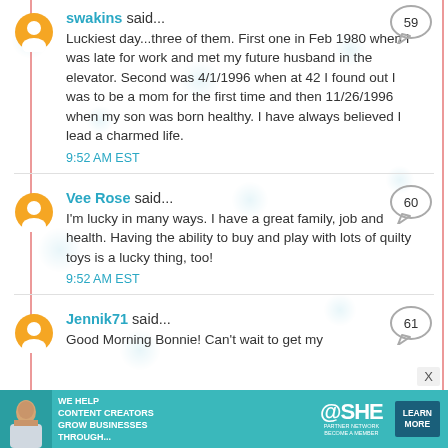swakins said...
Luckiest day...three of them. First one in Feb 1980 when I was late for work and met my future husband in the elevator. Second was 4/1/1996 when at 42 I found out I was to be a mom for the first time and then 11/26/1996 when my son was born healthy. I have always believed I lead a charmed life.
9:52 AM EST
Vee Rose said...
I'm lucky in many ways. I have a great family, job and health. Having the ability to buy and play with lots of quilty toys is a lucky thing, too!
9:52 AM EST
Jennik71 said...
Good Morning Bonnie! Can't wait to get my
[Figure (infographic): SHE Partner Network advertisement banner at the bottom: teal background with woman photo, text WE HELP CONTENT CREATORS GROW BUSINESSES THROUGH..., SHE logo, PARTNER NETWORK BECOME A MEMBER, LEARN MORE button]